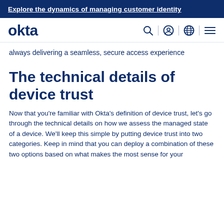Explore the dynamics of managing customer identity
[Figure (logo): Okta logo with navigation icons (search, user, globe, hamburger menu)]
always delivering a seamless, secure access experience
The technical details of device trust
Now that you're familiar with Okta's definition of device trust, let's go through the technical details on how we assess the managed state of a device. We'll keep this simple by putting device trust into two categories. Keep in mind that you can deploy a combination of these two options based on what makes the most sense for your